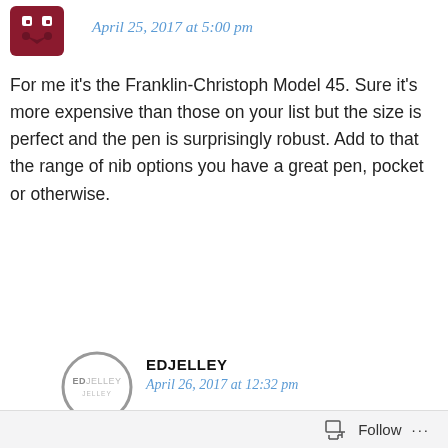April 25, 2017 at 5:00 pm
For me it's the Franklin-Christoph Model 45. Sure it's more expensive than those on your list but the size is perfect and the pen is surprisingly robust. Add to that the range of nib options you have a great pen, pocket or otherwise.
REPLY
EDJELLEY
April 26, 2017 at 12:32 pm
Follow